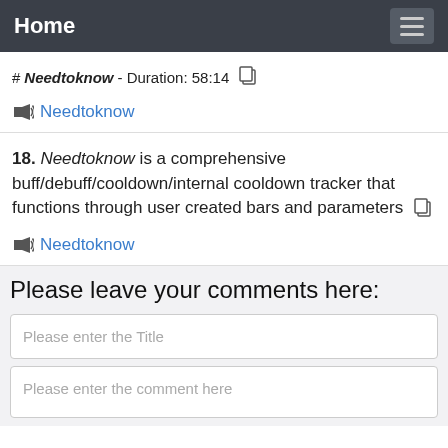Home
#Needtoknow - Duration: 58:14
Needtoknow
18. Needtoknow is a comprehensive buff/debuff/cooldown/internal cooldown tracker that functions through user created bars and parameters
Needtoknow
Please leave your comments here:
Please enter the Title
Please enter the comment here